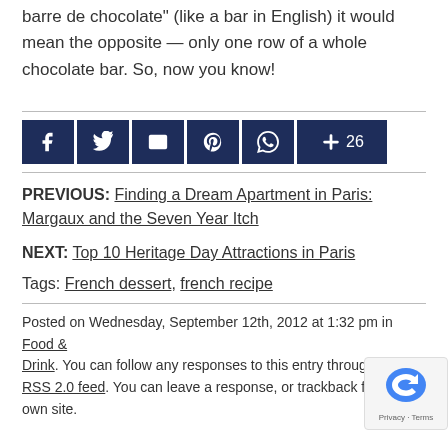barre de chocolate" (like a bar in English) it would mean the opposite — only one row of a whole chocolate bar. So, now you know!
[Figure (infographic): Social sharing buttons row: Facebook, Twitter, Email, Pinterest, WhatsApp, and a +26 counter, all with dark navy blue backgrounds and white icons.]
PREVIOUS: Finding a Dream Apartment in Paris: Margaux and the Seven Year Itch
NEXT: Top 10 Heritage Day Attractions in Paris
Tags: French dessert, french recipe
Posted on Wednesday, September 12th, 2012 at 1:32 pm in Food & Drink. You can follow any responses to this entry through the RSS 2.0 feed. You can leave a response, or trackback from your own site.